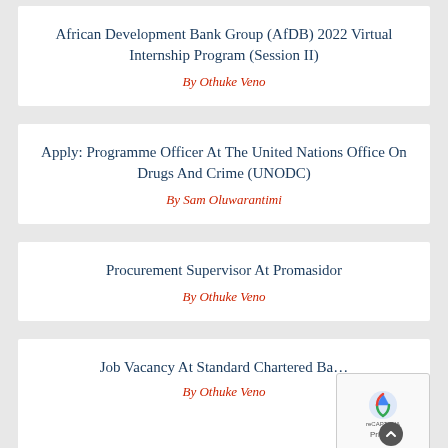African Development Bank Group (AfDB) 2022 Virtual Internship Program (Session II)
By Othuke Veno
Apply: Programme Officer At The United Nations Office On Drugs And Crime (UNODC)
By Sam Oluwarantimi
Procurement Supervisor At Promasidor
By Othuke Veno
Job Vacancy At Standard Chartered Ba…
By Othuke Veno